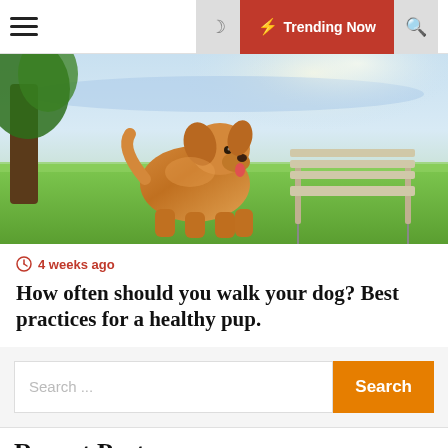☰  ☾  ⚡ Trending Now  🔍
[Figure (photo): Golden retriever dog standing on green grass in a park, with a wooden bench and tree in the background]
4 weeks ago
How often should you walk your dog? Best practices for a healthy pup.
Search ...
Recent Posts